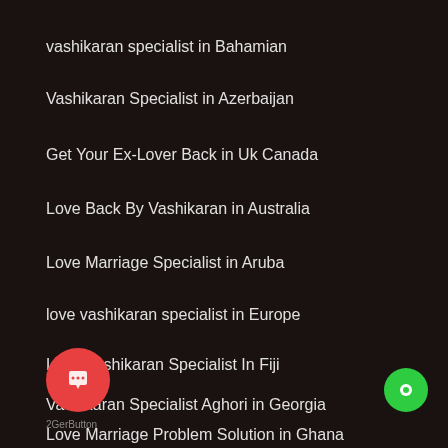vashikaran specialist in Bahamian
Vashikaran Specialist in Azerbaijan
Get Your Ex-Lover Back in Uk Canada
Love Back By Vashikaran in Australia
Love Marriage Specialist in Aruba
love vashikaran specialist in Europe
Love Vashikaran Specialist In Fiji
Vashikaran Specialist Aghori in Georgia
Love Marriage Problem Solution in Ghana
[Figure (illustration): Red/orange circular chat button with speech bubble icon, bottom left]
[Figure (illustration): Green circular button with chat icon, bottom right]
2GerButton